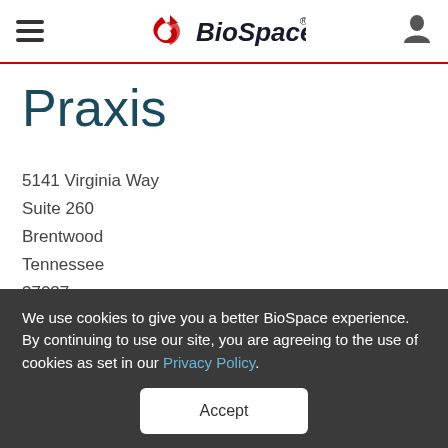BioSpace
Praxis
5141 Virginia Way
Suite 260
Brentwood
Tennessee
37027
We use cookies to give you a better BioSpace experience. By continuing to use our site, you are agreeing to the use of cookies as set in our Privacy Policy.